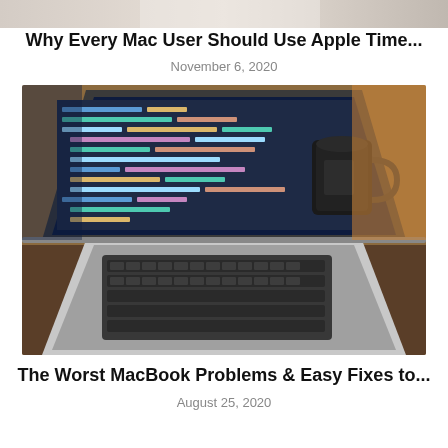[Figure (photo): Top portion of a cropped photo, partial view of an article thumbnail]
Why Every Mac User Should Use Apple Time...
November 6, 2020
[Figure (photo): MacBook laptop with code editor open on screen displaying colorful code, a dark coffee mug in the background on a wooden desk]
The Worst MacBook Problems & Easy Fixes to...
August 25, 2020